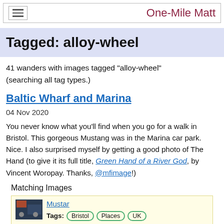One-Mile Matt
Tagged: alloy-wheel
41 wanders with images tagged "alloy-wheel" (searching all tag types.)
Baltic Wharf and Marina
04 Nov 2020
You never know what you'll find when you go for a walk in Bristol. This gorgeous Mustang was in the Marina car park. Nice. I also surprised myself by getting a good photo of The Hand (to give it its full title, Green Hand of a River God, by Vincent Woropay. Thanks, @mfimage!)
Matching Images
Mustang  Tags: Bristol  Places  UK